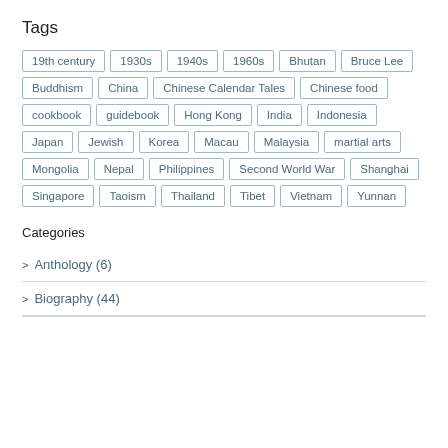Tags
19th century
1930s
1940s
1960s
Bhutan
Bruce Lee
Buddhism
China
Chinese Calendar Tales
Chinese food
cookbook
guidebook
Hong Kong
India
Indonesia
Japan
Jewish
Korea
Macau
Malaysia
martial arts
Mongolia
Nepal
Philippines
Second World War
Shanghai
Singapore
Taoism
Thailand
Tibet
Vietnam
Yunnan
Categories
Anthology (6)
Biography (44)